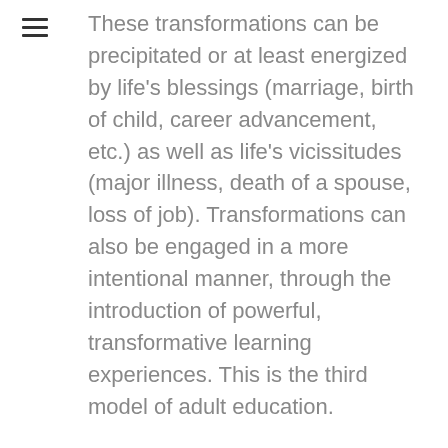These transformations can be precipitated or at least energized by life's blessings (marriage, birth of child, career advancement, etc.) as well as life's vicissitudes (major illness, death of a spouse, loss of job). Transformations can also be engaged in a more intentional manner, through the introduction of powerful, transformative learning experiences. This is the third model of adult education.
Appreciative Education
The fourth model begins with the assumption that the mature learner